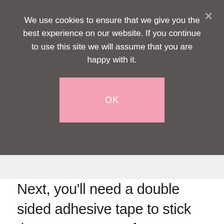We use cookies to ensure that we give you the best experience on our website. If you continue to use this site we will assume that you are happy with it.
OK
Next, you'll need a double sided adhesive tape to stick the paper on top of one another. The reason we'll be using the tape instead of the glue is because the tape will